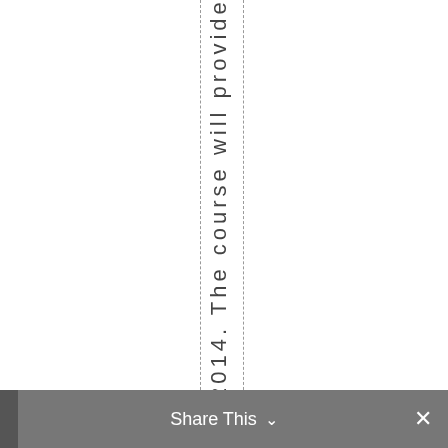2014. The course will provide theo p
Share This ∨   ✕